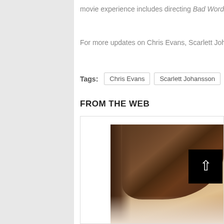movie experience includes directing Bad Words, The Fa…
For more updates on Chris Evans, Scarlett Johansson, a…
Tags: Chris Evans | Scarlett Johansson
FROM THE WEB
[Figure (photo): Close-up portrait photo of a young man with brown hair, with a black button overlay showing an upward arrow in the bottom-right corner. Below the photo there is another partial photo fading out.]